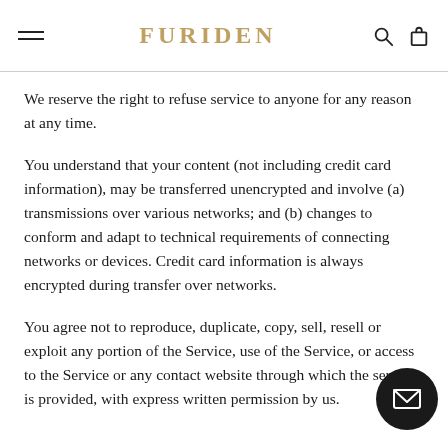FURIDEN
We reserve the right to refuse service to anyone for any reason at any time.
You understand that your content (not including credit card information), may be transferred unencrypted and involve (a) transmissions over various networks; and (b) changes to conform and adapt to technical requirements of connecting networks or devices. Credit card information is always encrypted during transfer over networks.
You agree not to reproduce, duplicate, copy, sell, resell or exploit any portion of the Service, use of the Service, or access to the Service or any contact website through which the service is provided, with express written permission by us.